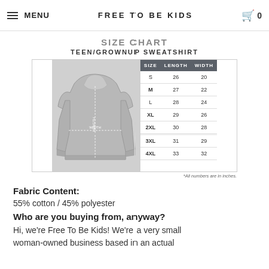MENU | FREE TO BE KIDS | 0
SIZE CHART
TEEN/GROWNUP SWEATSHIRT
| SIZE | LENGTH | WIDTH |
| --- | --- | --- |
| S | 26 | 20 |
| M | 27 | 22 |
| L | 28 | 24 |
| XL | 29 | 26 |
| 2XL | 30 | 28 |
| 3XL | 31 | 29 |
| 4XL | 33 | 32 |
*All numbers are in inches.
Fabric Content:
55% cotton / 45% polyester
Who are you buying from, anyway?
Hi, we're Free To Be Kids! We're a very small woman-owned business based in an actual